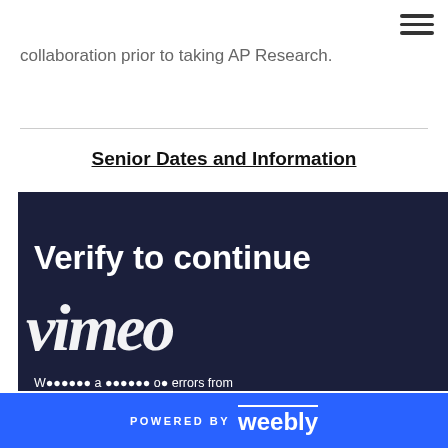≡
collaboration prior to taking AP Research.
Senior Dates and Information
[Figure (screenshot): Vimeo 'Verify to continue' screenshot embedded in page. Dark navy background with large white bold text 'Verify to continue', Vimeo logo in white italic script, and body text: 'We detected a number of errors from your IP address. To continue, please confirm that youâ€™re a human (and not a spambot).' with a reCAPTCHA widget partially visible at bottom.]
POWERED BY weebly